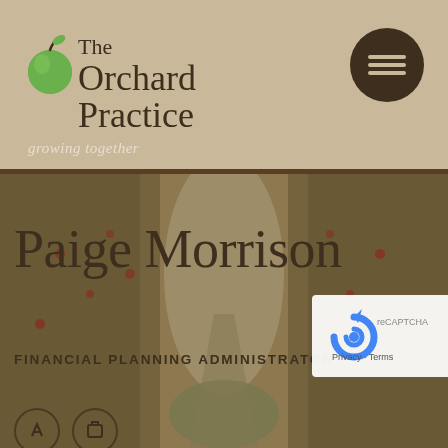[Figure (logo): The Orchard Practice logo with apple icon, text 'The Orchard Practice' and tagline 'growing together' on tan/beige background]
[Figure (other): Hamburger menu button (three horizontal lines) in dark brown circle on upper right of header]
[Figure (photo): Orchard pathway photo showing trees with red fruit lining a path, misty background]
Paige Morrison
FINANCIAL PLANNING ADMINISTRATOR
[Figure (other): reCAPTCHA badge showing logo and Privacy - Terms links]
[Figure (other): Two circular icon buttons at bottom left of photo section]